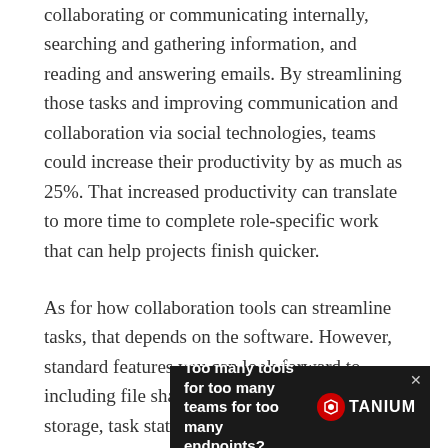collaborating or communicating internally, searching and gathering information, and reading and answering emails. By streamlining those tasks and improving communication and collaboration via social technologies, teams could increase their productivity by as much as 25%. That increased productivity can translate to more time to complete role-specific work that can help projects finish quicker.
As for how collaboration tools can streamline tasks, that depends on the software. However, standard features you can look forward to including file sharing, task assignments, online storage, task status updates, charts that visualize progress, video conferencing, and more to aid in collaboration
[Figure (other): Advertisement banner: dark background with text 'Too many tools for too many teams for too many endpoints?' and Tanium logo with red circle icon, and a close (x) button.]